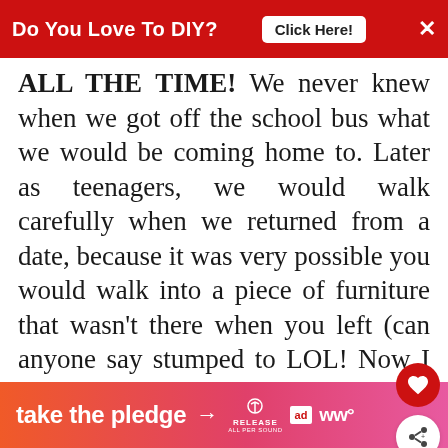Do You Love To DIY? Click Here! ×
ALL THE TIME! We never knew when we got off the school bus what we would be coming home to. Later as teenagers, we would walk carefully when we returned from a date, because it was very possible you would walk into a piece of furniture that wasn't there when you left (can anyone say stumped toe? LOL! Now I know where I got t' particular redo & remake gene, huh.
Denise
[Figure (infographic): What's Next thumbnail with text: WHAT'S NEXT → When And Why Do You...]
take the pledge →  RELEASE  ad  ww°